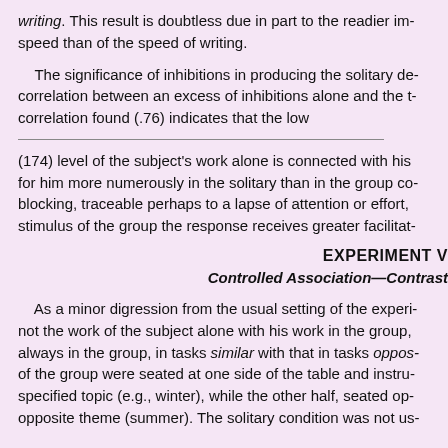writing. This result is doubtless due in part to the readier im- speed than of the speed of writing.
The significance of inhibitions in producing the solitary de- correlation between an excess of inhibitions alone and the t- correlation found (.76) indicates that the low
(174) level of the subject's work alone is connected with his for him more numerously in the solitary than in the group co- blocking, traceable perhaps to a lapse of attention or effort, stimulus of the group the response receives greater facilitat-
EXPERIMENT V
Controlled Association—Contrast
As a minor digression from the usual setting of the experi- not the work of the subject alone with his work in the group, always in the group, in tasks similar with that in tasks oppos- of the group were seated at one side of the table and instru- specified topic (e.g., winter), while the other half, seated op- opposite theme (summer). The solitary condition was not us-